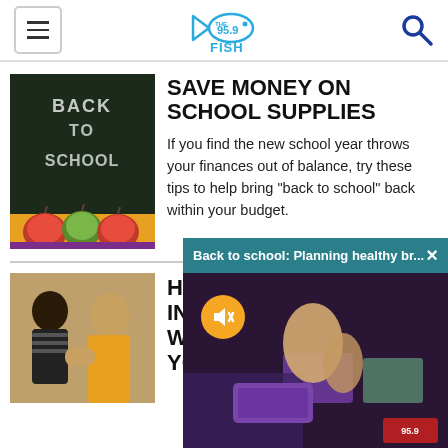95.9 The Fish
[Figure (screenshot): Back to school chalkboard with apples photo]
SAVE MONEY ON SCHOOL SUPPLIES
If you find the new school year throws your finances out of balance, try these tips to help bring "back to school" back within your budget.
[Figure (photo): Two children photo for second article]
HO... IN... W... YO...
[Figure (screenshot): Video overlay: Back to school: Planning healthy br... with dark teal header and video of person preparing food with purple lunch boxes]